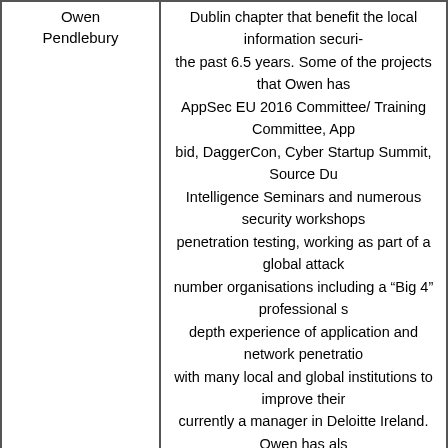| Name | Description |
| --- | --- |
| Owen Pendlebury | Dublin chapter that benefit the local information securi... the past 6.5 years. Some of the projects that Owen has... AppSec EU 2016 Committee/ Training Committee, App... bid, DaggerCon, Cyber Startup Summit, Source Du... Intelligence Seminars and numerous security workshops... penetration testing, working as part of a global attack... number organisations including a “Big 4” professional s... depth experience of application and network penetratio... with many local and global institutions to improve their... currently a manager in Deloitte Ireland. Owen has als... education bodies, architecting a masters in cyber securi... students and experienced individuals find their way in to... making himself available to through a |
| Dhiraj Mishr | Global/Growing Category Handling the OWASP St... https://www.owasp.org/index.php/Mumbai_Student_Ch... leader, we have endorse the student towards t |
| John Patric... | Global/Growing Category An outstanding volunteer de... Asia region to promote OWASP projects and materials... through his outreach program on universities, governme |